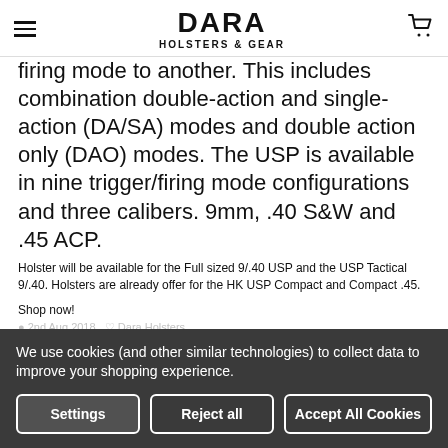DARA HOLSTERS & GEAR
firing mode to another. This includes combination double-action and single-action (DA/SA) modes and double action only (DAO) modes. The USP is available in nine trigger/firing mode configurations and three calibers. 9mm, .40 S&W and .45 ACP.
Holster will be available for the Full sized 9/.40 USP and the USP Tactical 9/.40. Holsters are already offer for the HK USP Compact and Compact .45.
Shop now!
2nd Aug 2018 · Dara Holsters
We use cookies (and other similar technologies) to collect data to improve your shopping experience.
Settings | Reject all | Accept All Cookies